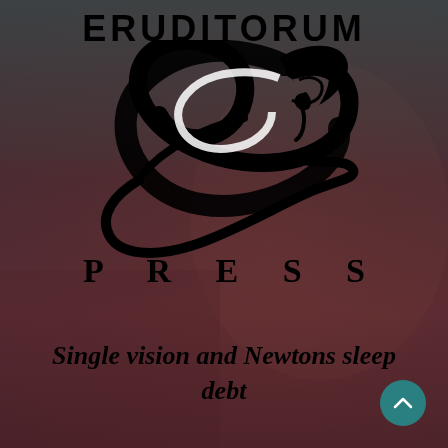ERUDITORUM
[Figure (logo): Eruditorum Press stylized EP logo in black calligraphic script with a feather/quill element]
P R E S S
Single vision and Newtons sleep debt